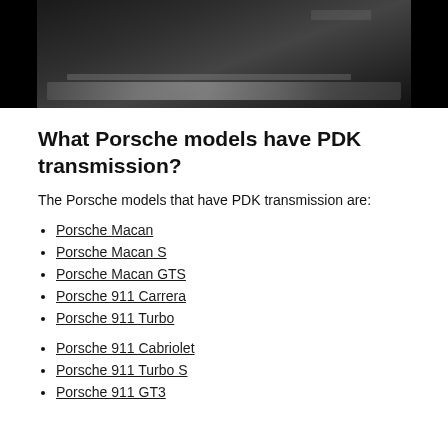[Figure (photo): Black and white photo of a Porsche dashboard/transmission area]
What Porsche models have PDK transmission?
The Porsche models that have PDK transmission are:
Porsche Macan
Porsche Macan S
Porsche Macan GTS
Porsche 911 Carrera
Porsche 911 Turbo
Porsche 911 Cabriolet
Porsche 911 Turbo S
Porsche 911 GT3